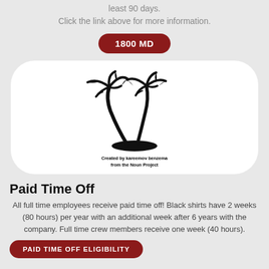least 90 days.
Click the link above for more information.
1800 MD
[Figure (illustration): Black silhouette illustration of two palm trees on an island]
Created by kareemov benzema
from the Noun Project
Paid Time Off
All full time employees receive paid time off! Black shirts have 2 weeks (80 hours) per year with an additional week after 6 years with the company. Full time crew members receive one week (40 hours).
PAID TIME OFF ELIGIBILITY